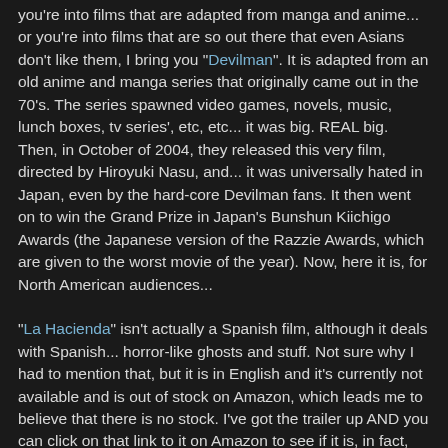you're into films that are adapted from manga and anime... or you're into films that are so out there that even Asians don't like them, I bring you "Devilman". It is adapted from an old anime and manga series that originally came out in the 70's. The series spawned video games, novels, music, lunch boxes, tv series', etc, etc... it was big. REAL big. Then, in October of 2004, they released this very film, directed by Hiroyuki Nasu, and... it was universally hated in Japan, even by the hard-core Devilman fans. It then went on to win the Grand Prize in Japan's Bunshun Kiichigo Awards (the Japanese version of the Razzie Awards, which are given to the worst movie of the year). Now, here it is, for North American audiences...
"La Hacienda" isn't actually a Spanish film, although it deals with Spanish... horror-like ghosts and stuff. Not sure why I had to mention that, but it is in English and it's currently not available and is out of stock on Amazon, which leads me to believe that there is no stock. I've got the trailer up AND you can click on that link to it on Amazon to see if it is, in fact, now available.